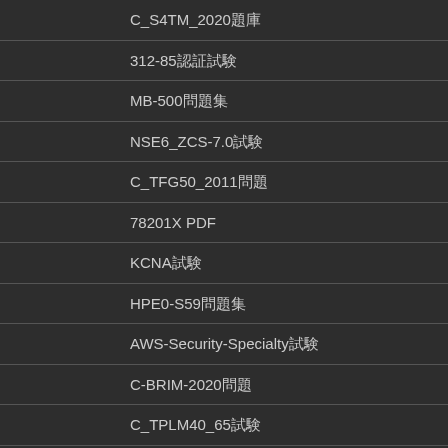C_S4TM_2020題庫
312-85認証試験
MB-500問題集
NSE6_ZCS-7.0試験
C_TFG50_2011問題
78201X PDF
KCNA試験
HPE0-S59問題集
AWS-Security-Specialty試験
C-BRIM-2020問題
C_TPLM40_65試験
C-HCADM-02試験集